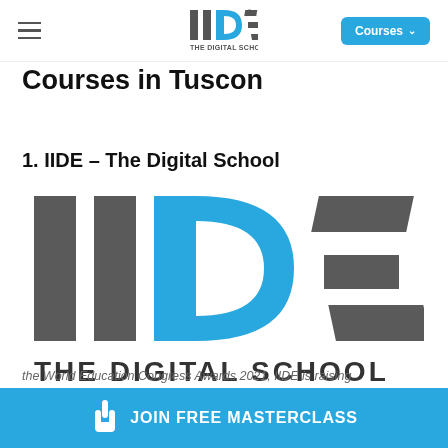IIDE – The Digital School | Courses | Navigation
Courses in Tuscon
1. IIDE – The Digital School
[Figure (logo): IIDE – The Digital School logo. Large stylized letters I I D E in grey and blue, with 'THE DIGITAL SCHOOL' text below in dark grey.]
IIDE is one of the leading institutes for digital marketing
the World Education Congress Awards 2021, IIDE is raising